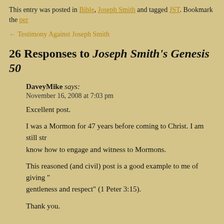This entry was posted in Bible, Joseph Smith and tagged JST. Bookmark the per
← Testimony Against Joseph Smith
26 Responses to Joseph Smith's Genesis 50
DaveyMike says:
November 16, 2008 at 7:03 pm

Excellent post.

I was a Mormon for 47 years before coming to Christ. I am still str know how to engage and witness to Mormons.

This reasoned (and civil) post is a good example to me of giving " gentleness and respect" (1 Peter 3:15).

Thank you.